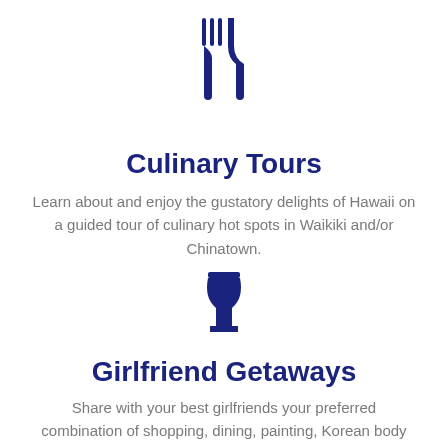[Figure (illustration): Dark navy blue icon of a fork and knife (utensils) centered at top of page]
Culinary Tours
Learn about and enjoy the gustatory delights of Hawaii on a guided tour of culinary hot spots in Waikiki and/or Chinatown.
[Figure (illustration): Dark navy blue icon of a wine glass centered in middle of page]
Girlfriend Getaways
Share with your best girlfriends your preferred combination of shopping, dining, painting, Korean body scrubs, massages,